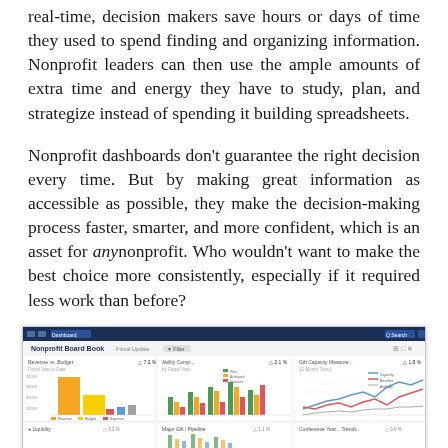real-time, decision makers save hours or days of time they used to spend finding and organizing information. Nonprofit leaders can then use the ample amounts of extra time and energy they have to study, plan, and strategize instead of spending it building spreadsheets.
Nonprofit dashboards don't guarantee the right decision every time. But by making great information as accessible as possible, they make the decision-making process faster, smarter, and more confident, which is an asset for any nonprofit. Who wouldn't want to make the best choice more consistently, especially if it required less work than before?
[Figure (screenshot): Screenshot of a Nonprofit Board Book dashboard interface showing multiple chart panels including bar charts (orange/yellow bars), grouped bar charts (multicolor), and line charts, set against a dark navy header bar.]